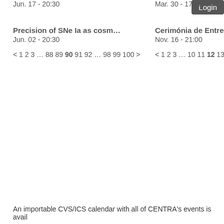Jun. 17 - 20:30
Mar. 30 - 17:00
Login
Precision of SNe Ia as cosm...
Jun. 02 - 20:30
Cerimónia de Entrega do Pr...
Nov. 16 - 21:00
< 1 2 3 ... 88 89 90 91 92 ... 98 99 100 >
< 1 2 3 ... 10 11 12 13 >
An importable CVS/ICS calendar with all of CENTRA's events is avail